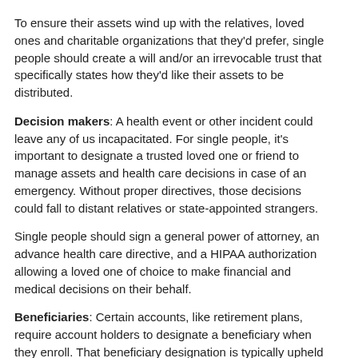To ensure their assets wind up with the relatives, loved ones and charitable organizations that they'd prefer, single people should create a will and/or an irrevocable trust that specifically states how they'd like their assets to be distributed.
Decision makers: A health event or other incident could leave any of us incapacitated. For single people, it's important to designate a trusted loved one or friend to manage assets and health care decisions in case of an emergency. Without proper directives, those decisions could fall to distant relatives or state-appointed strangers.
Single people should sign a general power of attorney, an advance health care directive, and a HIPAA authorization allowing a loved one of choice to make financial and medical decisions on their behalf.
Beneficiaries: Certain accounts, like retirement plans, require account holders to designate a beneficiary when they enroll. That beneficiary designation is typically upheld when the account holder dies, even if he or she gave the account to someone else in a will.